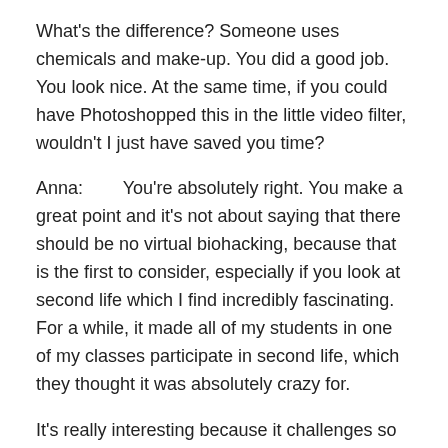What's the difference?  Someone uses chemicals and make-up.  You did a good job.  You look nice.  At the same time, if you could have Photoshopped this in the little video filter, wouldn't I just have saved you time?
Anna:          You're absolutely right.  You make a great point and it's not about saying that there should be no virtual biohacking, because that is the first to consider, especially if you look at second life which I find incredibly fascinating.  For a while, it made all of my students in one of my classes participate in second life, which they thought it was absolutely crazy for.
It's really interesting because it challenges so many things.  When you get to designing your body,